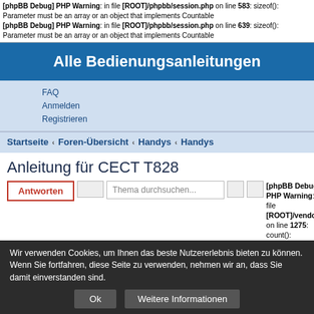[phpBB Debug] PHP Warning: in file [ROOT]/phpbb/session.php on line 583: sizeof(): Parameter must be an array or an object that implements Countable
[phpBB Debug] PHP Warning: in file [ROOT]/phpbb/session.php on line 639: sizeof(): Parameter must be an array or an object that implements Countable
Alle Bedienungsanleitungen
FAQ
Anmelden
Registrieren
Startseite ‹ Foren-Übersicht ‹ Handys ‹ Handys
Anleitung für CECT T828
[phpBB Debug] PHP Warning: in file [ROOT]/vendor/twig/twig/lib/Twig/Extension/Core.php on line 1275: count(): Parameter must be an array or an object that implements Countable
1 Beitrag[phpBB Debug] PHP Warning: in file [ROOT]/vendor/twig/twig/lib/Twig/Extension/Core.php on line 1275: count(): Parameter must be an array or an object that implements Countable
•Seite 1 von 1
Kathi
[phpBB Debug] PHP Warning: in file [ROOT]/vendor/twig/twig/lib/Twig/Extension/Core.php on line 1275: count(): Parameter must be an array or an object that implements Countable
Wir verwenden Cookies, um Ihnen das beste Nutzererlebnis bieten zu können. Wenn Sie fortfahren, diese Seite zu verwenden, nehmen wir an, dass Sie damit einverstanden sind.